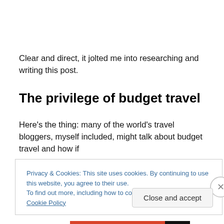Clear and direct, it jolted me into researching and writing this post.
The privilege of budget travel
Here’s the thing: many of the world’s travel bloggers, myself included, might talk about budget travel and how if
Privacy & Cookies: This site uses cookies. By continuing to use this website, you agree to their use.
To find out more, including how to control cookies, see here: Cookie Policy
Close and accept